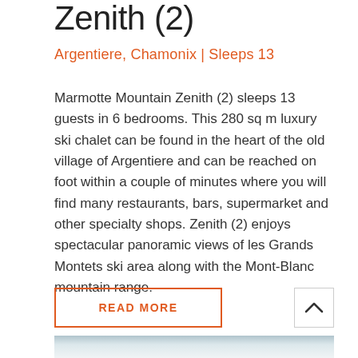Zenith (2)
Argentiere, Chamonix | Sleeps 13
Marmotte Mountain Zenith (2) sleeps 13 guests in 6 bedrooms. This 280 sq m luxury ski chalet can be found in the heart of the old village of Argentiere and can be reached on foot within a couple of minutes where you will find many restaurants, bars, supermarket and other specialty shops. Zenith (2) enjoys spectacular panoramic views of les Grands Montets ski area along with the Mont-Blanc mountain range.
READ MORE
[Figure (photo): Mountain landscape photo strip at bottom of page, showing dark forested hillside against a pale sky]